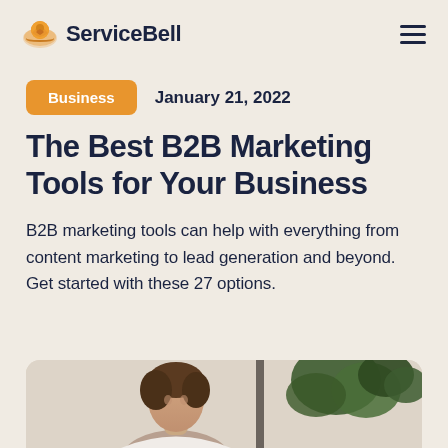ServiceBell
Business   January 21, 2022
The Best B2B Marketing Tools for Your Business
B2B marketing tools can help with everything from content marketing to lead generation and beyond. Get started with these 27 options.
[Figure (photo): Photo of a woman in an office/indoor setting with plants in the background, cropped at the bottom of the page]